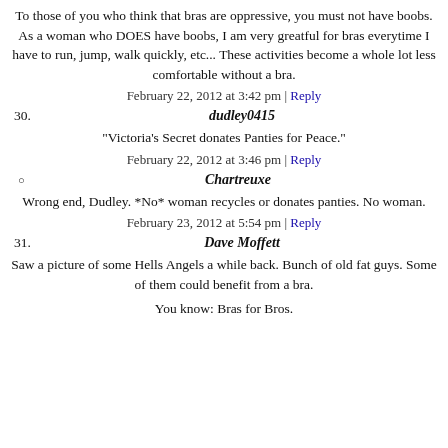To those of you who think that bras are oppressive, you must not have boobs. As a woman who DOES have boobs, I am very greatful for bras everytime I have to run, jump, walk quickly, etc... These activities become a whole lot less comfortable without a bra.
February 22, 2012 at 3:42 pm | Reply
30. dudley0415
"Victoria's Secret donates Panties for Peace."
February 22, 2012 at 3:46 pm | Reply
○ Chartreuxe
Wrong end, Dudley. *No* woman recycles or donates panties. No woman.
February 23, 2012 at 5:54 pm | Reply
31. Dave Moffett
Saw a picture of some Hells Angels a while back. Bunch of old fat guys. Some of them could benefit from a bra.
You know: Bras for Bros.